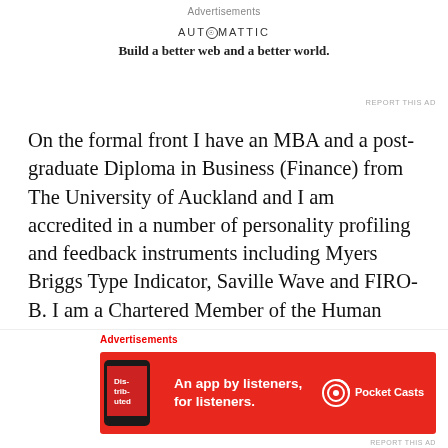Advertisements
[Figure (logo): Automattic logo with tagline: Build a better web and a better world.]
On the formal front I have an MBA and a post-graduate Diploma in Business (Finance) from The University of Auckland and I am accredited in a number of personality profiling and feedback instruments including Myers Briggs Type Indicator, Saville Wave and FIRO-B. I am a Chartered Member of the Human Resources Institute, the Institute of Directors in New Zealand and the YMCA Marathon Club too.
My experience is that leadership is learned wherever
Advertisements
[Figure (screenshot): Pocket Casts advertisement banner: An app by listeners, for listeners. Red background with phone graphic and Pocket Casts logo.]